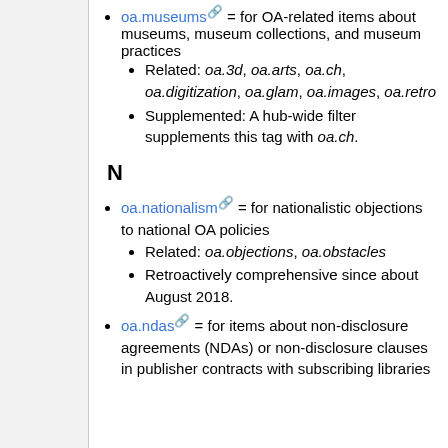oa.museums = for OA-related items about museums, museum collections, and museum practices
Related: oa.3d, oa.arts, oa.ch, oa.digitization, oa.glam, oa.images, oa.retro
Supplemented: A hub-wide filter supplements this tag with oa.ch.
N
oa.nationalism = for nationalistic objections to national OA policies
Related: oa.objections, oa.obstacles
Retroactively comprehensive since about August 2018.
oa.ndas = for items about non-disclosure agreements (NDAs) or non-disclosure clauses in publisher contracts with subscribing libraries